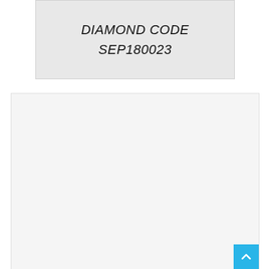DIAMOND CODE
SEP180023
[Figure (other): Large light gray empty box area below the diamond code box, with a blue scroll-to-top button in the bottom-right corner.]